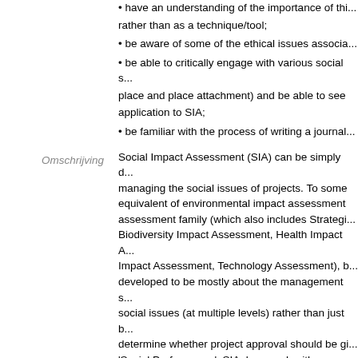• have an understanding of the importance of this rather than as a technique/tool;
• be aware of some of the ethical issues associa...
• be able to critically engage with various social s... place and place attachment) and be able to see application to SIA;
• be familiar with the process of writing a journal...
Social Impact Assessment (SIA) can be simply d... managing the social issues of projects. To some equivalent of environmental impact assessment assessment family (which also includes Strategi... Biodiversity Impact Assessment, Health Impact A... Impact Assessment, Technology Assessment), b... developed to be mostly about the management s... social issues (at multiple levels) rather than just b... determine whether project approval should be gi... 'Social Performance'. SIA does work with regular... decision-making and approval processes; howev... proponent of a development plan to improve pro... (re)design, site selection, and design and implem... measures and monitoring programs. In addition, financiers (especially international financial instit... risks and whether project financing should be ap... with NGOs to ensure projects meet international... with impacted communities to assist in coping wi... positive futures. SIA is best conceived as a disc...